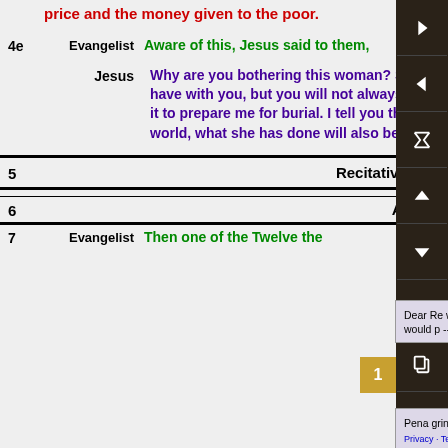price and the money given to the poor.
4e  Evangelist  Aware of this, Jesus said to them,
Jesus  Why are you bothering this woman? She has done a beautiful thing to me. The poor you will always have with you, but you will not always have me. When she poured this perfume on my body, she did it to prepare me for burial. I tell you the truth, wherever this gospel is preached throughout the world, what she has done will also be told, in memory of her.
5   Recitative (Alto)
6   Aria (Alto)
7  Evangelist  Then one of the Twelve  the...